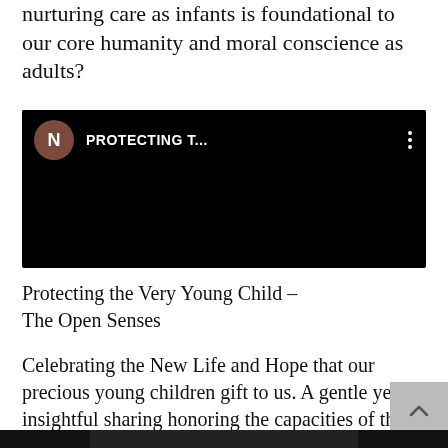nurturing care as infants is foundational to our core humanity and moral conscience as adults?
[Figure (screenshot): Video thumbnail showing a dark/black screen with a brown circle containing the letter N on the left, followed by the text 'PROTECTING T...' in white, and three vertical dots on the right, on a black background.]
Protecting the Very Young Child – The Open Senses
Celebrating the New Life and Hope that our precious young children gift to us. A gentle yet insightful sharing honoring the capacities of the little child to take in life with total innocence, open sensitivity, and devotion and the sacred trust of protecting... years